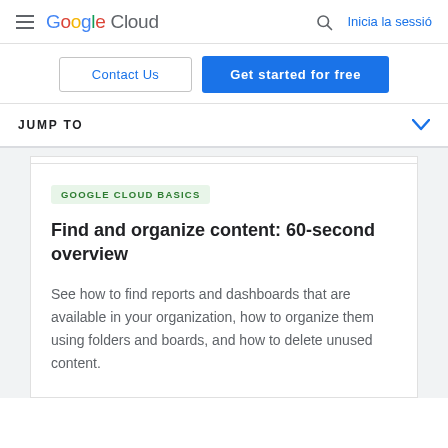Google Cloud — Inicia la sessió
Contact Us
Get started for free
JUMP TO
GOOGLE CLOUD BASICS
Find and organize content: 60-second overview
See how to find reports and dashboards that are available in your organization, how to organize them using folders and boards, and how to delete unused content.